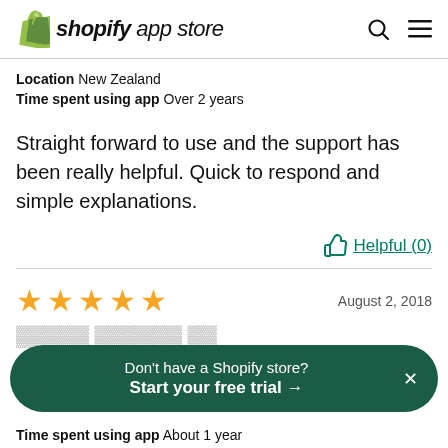shopify app store
Location  New Zealand
Time spent using app  Over 2 years
Straight forward to use and the support has been really helpful. Quick to respond and simple explanations.
Helpful (0)
★★★★★  August 2, 2018
Don't have a Shopify store?
Start your free trial →
Time spent using app  About 1 year